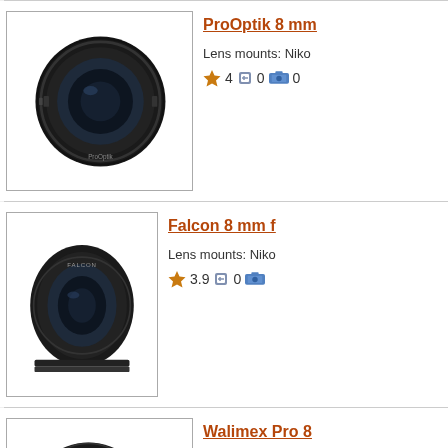[Figure (screenshot): Product listing page showing camera lenses: ProOptik 8mm, Falcon 8mm f, Walimex Pro 8, Walimex pro 8 with ratings and lens mount info]
ProOptik 8 mm
Lens mounts: Niko
4 0 0
Falcon 8 mm f
Lens mounts: Niko
3.9 0
Walimex Pro 8
Lens mounts: Niko
4 0 0
Walimex pro 8
Lens mounts: Niko
4.5 0